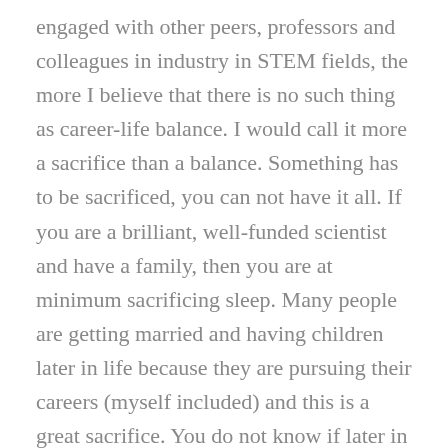engaged with other peers, professors and colleagues in industry in STEM fields, the more I believe that there is no such thing as career-life balance. I would call it more a sacrifice than a balance. Something has to be sacrificed, you can not have it all. If you are a brilliant, well-funded scientist and have a family, then you are at minimum sacrificing sleep. Many people are getting married and having children later in life because they are pursuing their careers (myself included) and this is a great sacrifice. You do not know if later in your life you will find a partner or be able to have children. These are things we do not talk about when we talk about career-life balance, particularly in STEM, but this might be applicable to other areas as well. If you are a brilliant, well-funded scientist you may not have time for other community related activities that could really benefit from having someone with a technical background involved (community